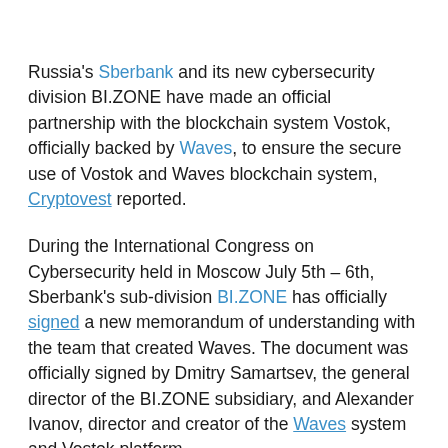Russia's Sberbank and its new cybersecurity division BI.ZONE have made an official partnership with the blockchain system Vostok, officially backed by Waves, to ensure the secure use of Vostok and Waves blockchain system, Cryptovest reported.
During the International Congress on Cybersecurity held in Moscow July 5th – 6th, Sberbank's sub-division BI.ZONE has officially signed a new memorandum of understanding with the team that created Waves. The document was officially signed by Dmitry Samartsev, the general director of the BI.ZONE subsidiary, and Alexander Ivanov, director and creator of the Waves system and Vostok platform.